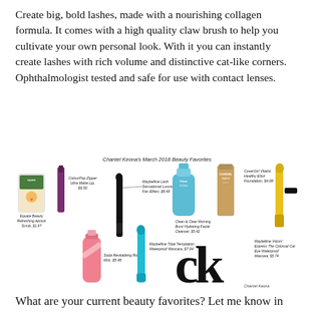Create big, bold lashes, made with a nourishing collagen formula. It comes with a high quality claw brush to help you cultivate your own personal look. With it you can instantly create lashes with rich volume and distinctive cat-like corners. Ophthalmologist tested and safe for use with contact lenses.
[Figure (infographic): Chantel Keona's March 2018 Beauty Favorites collage showing multiple beauty products: Equate Beauty Refreshing Apricot Scrub, ColourPop Zipper Ultra Matte Lip, Maybelline Lash Sensational Luscious Full Fan Effect, Clean & Clear Morning Burst Hydrating Facial Cleanser, CoverGirl Vitalist Healthy Elixir Foundation, Maybelline Total Temptation Waterproof Mascara, Maybelline Volum' Express The Colossal Cat Eye Waterproof Mascara, and CK logo with Chantel Keona signature]
What are your current beauty favorites? Let me know in